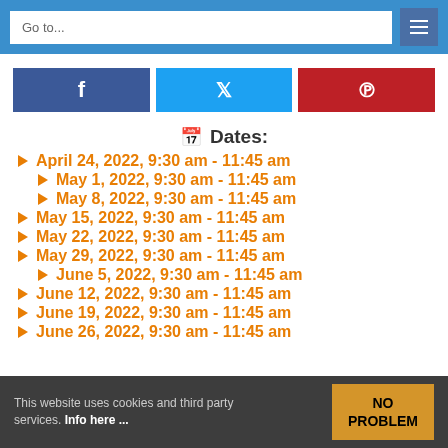Go to...
[Figure (other): Social share buttons: Facebook, Twitter, Pinterest]
Dates:
April 24, 2022, 9:30 am - 11:45 am
May 1, 2022, 9:30 am - 11:45 am
May 8, 2022, 9:30 am - 11:45 am
May 15, 2022, 9:30 am - 11:45 am
May 22, 2022, 9:30 am - 11:45 am
May 29, 2022, 9:30 am - 11:45 am
June 5, 2022, 9:30 am - 11:45 am
June 12, 2022, 9:30 am - 11:45 am
June 19, 2022, 9:30 am - 11:45 am
June 26, 2022, 9:30 am - 11:45 am
This website uses cookies and third party services. Info here ...